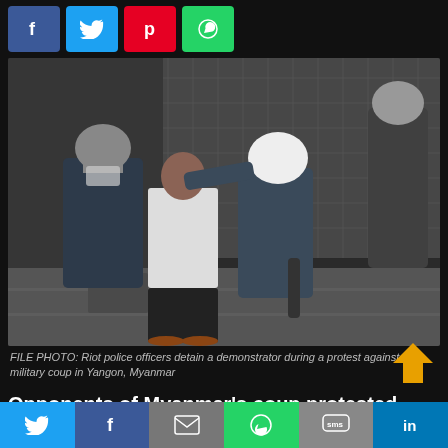[Figure (other): Row of social share buttons: Facebook (blue), Twitter (light blue), Pinterest (red), WhatsApp (green)]
[Figure (photo): FILE PHOTO: Riot police officers in helmets detaining a young demonstrator during a protest against the military coup in Yangon, Myanmar. Two officers in white helmets and gear hold a young man in a white shirt and dark shorts on a city sidewalk.]
FILE PHOTO: Riot police officers detain a demonstrator during a protest against the military coup in Yangon, Myanmar
Opponents of Myanmar's coup protested again on Saturday
[Figure (other): Bottom social share bar with Twitter, Facebook, Email, WhatsApp, SMS, LinkedIn buttons]